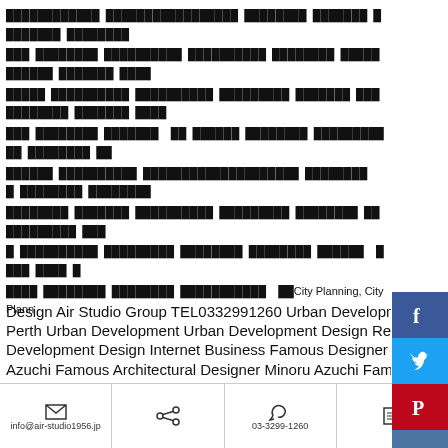Japanese text content (multiple lines of Japanese characters) followed by mixed Japanese/English text about City Planning, City Planning Design Air Studio Group TEL0332991260 Urban Development Perth Urban Development Urban Development Design Regional Development Design Internet Business Famous Designer Minoru Azuchi Famous Architectural Designer Minoru Azuchi Famous City Designer Minoru Azuchi Famous Space Producer Minoru Azuchi Famous Interior Designer Minoru Azuchi SNS Customer
info@air-studio1956.jp | share | 03-3299-1260 | document